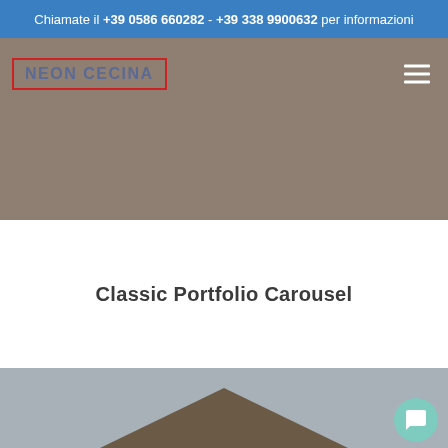Chiamate il +39 0586 660282 - +39 338 9900632 per informazioni
[Figure (screenshot): Navigation bar with NEON CECINA logo in red-bordered box on taupe background, hamburger menu icon on right]
[Figure (photo): Hero image area with taupe/brownish background]
Classic Portfolio Carousel
[Figure (photo): Bottom portion of a carousel image showing a roof/building shape against a grey-blue sky background, with a teal chat button in the bottom right corner]